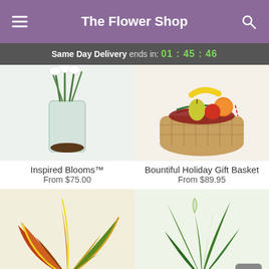The Flower Shop
Same Day Delivery ends in: 01 : 45 : 46
[Figure (photo): Inspired Blooms - flowers in a glass vase with dark soil and green stems]
Inspired Blooms™
From $75.00
[Figure (photo): Bountiful Holiday Gift Basket - wicker basket with bananas, pear, orange, tomato and holiday decorations]
Bountiful Holiday Gift Basket
From $89.95
[Figure (photo): Colorful croton plant with yellow, green, red and orange leaves in a pot]
[Figure (photo): Green tropical plant arrangement with peace lily and pink flowers in a striped pot]